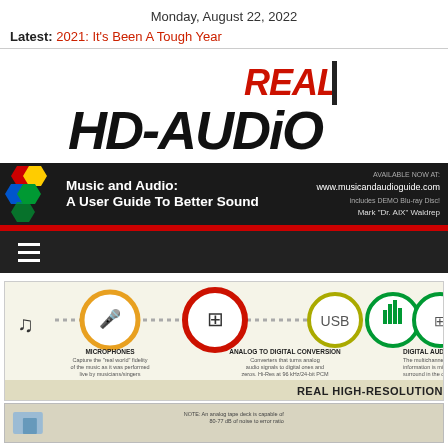Monday, August 22, 2022
Latest: 2021: It's Been A Tough Year
[Figure (logo): Real HD-Audio logo with bold black italic lettering and red REAL above HD-AUDIO text]
[Figure (infographic): Music and Audio: A User Guide To Better Sound advertisement banner with hexagon icons and website www.musicandaudioguide.com, Mark 'Dr. AIX' Waldrep]
[Figure (infographic): Real High-Resolution audio signal chain infographic showing Microphones, Analog to Digital Conversion, and Digital Audio M... steps with circular icons on a beige background]